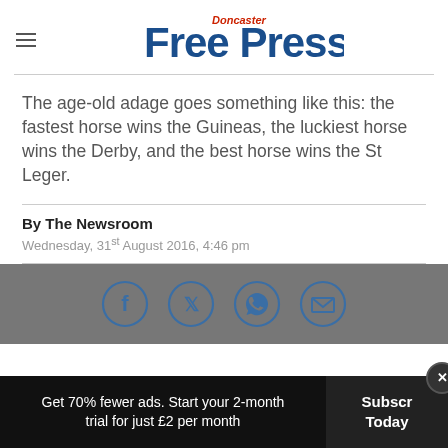Doncaster Free Press
The age-old adage goes something like this: the fastest horse wins the Guineas, the luckiest horse wins the Derby, and the best horse wins the St Leger.
By The Newsroom
Wednesday, 31st August 2016, 4:46 pm
[Figure (infographic): Social share icons: Facebook, Twitter, WhatsApp, Email in circular outlines on grey background]
Get 70% fewer ads. Start your 2-month trial for just £2 per month  Subscribe Today